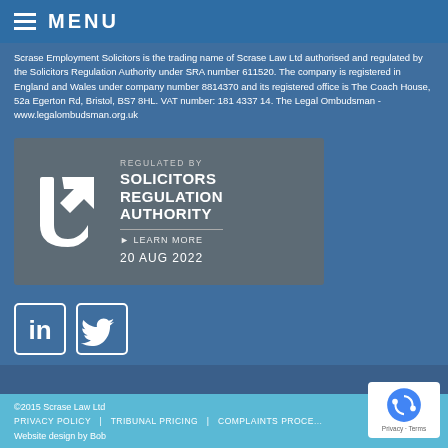MENU
Scrase Employment Solicitors is the trading name of Scrase Law Ltd authorised and regulated by the Solicitors Regulation Authority under SRA number 611520. The company is registered in England and Wales under company number 8814370 and its registered office is The Coach House, 52a Egerton Rd, Bristol, BS7 8HL. VAT number: 181 4337 14. The Legal Ombudsman - www.legalombudsman.org.uk
[Figure (logo): Solicitors Regulation Authority badge showing SRA shield logo with text: REGULATED BY SOLICITORS REGULATION AUTHORITY LEARN MORE 20 AUG 2022]
[Figure (logo): LinkedIn social media icon - white 'in' on blue background with white border]
[Figure (logo): Twitter social media icon - white bird on blue background with white border]
©2015 Scrase Law Ltd
PRIVACY POLICY | TRIBUNAL PRICING | COMPLAINTS PROCEDURE
Website design by Bob